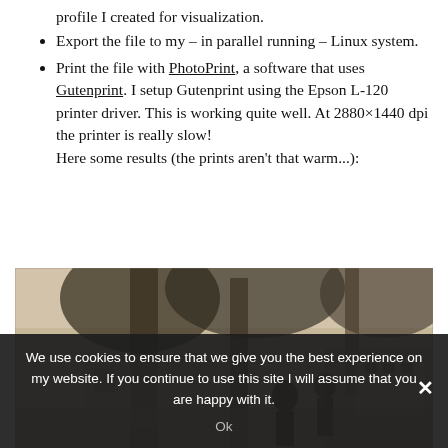profile I created for visualization.
Export the file to my – in parallel running – Linux system.
Print the file with PhotoPrint, a software that uses Gutenprint. I setup Gutenprint using the Epson L-120 printer driver. This is working quite well. At 2880×1440 dpi the printer is really slow! Here some results (the prints aren't that warm...):
[Figure (photo): A sepia-toned black and white photograph showing people among trees with buildings in the background.]
We use cookies to ensure that we give you the best experience on my website. If you continue to use this site I will assume that you are happy with it.